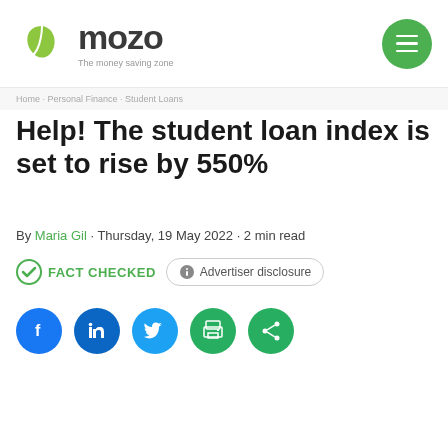Mozo — The money saving zone
Help! The student loan index is set to rise by 550%
By Maria Gil · Thursday, 19 May 2022 · 2 min read
FACT CHECKED  Advertiser disclosure
[Figure (infographic): Social sharing icons: Facebook, LinkedIn, Twitter, Print, Share]